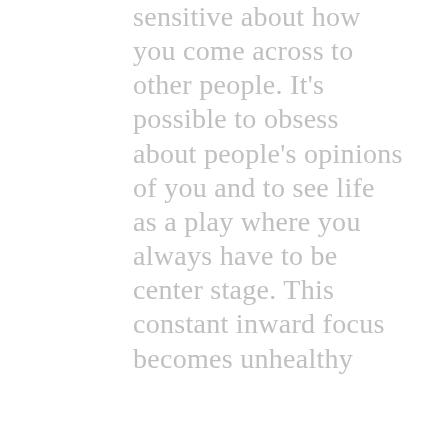sensitive about how you come across to other people. It's possible to obsess about people's opinions of you and to see life as a play where you always have to be center stage. This constant inward focus becomes unhealthy